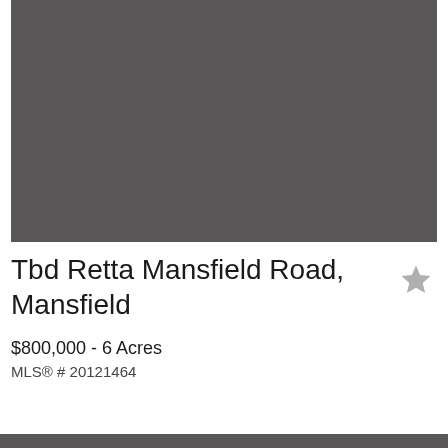[Figure (photo): Dark gray placeholder image for property listing photo]
Tbd Retta Mansfield Road, Mansfield
$800,000 - 6 Acres
MLS® # 20121464